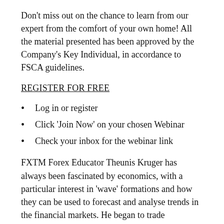Don't miss out on the chance to learn from our expert from the comfort of your own home! All the material presented has been approved by the Company's Key Individual, in accordance to FSCA guidelines.
REGISTER FOR FREE
Log in or register
Click ‘Join Now’ on your chosen Webinar
Check your inbox for the webinar link
FXTM Forex Educator Theunis Kruger has always been fascinated by economics, with a particular interest in ‘wave’ formations and how they can be used to forecast and analyse trends in the financial markets. He began to trade personally as a hobby, but his keen insights and aptitude soon paved the path towards a successful career. With a decade of